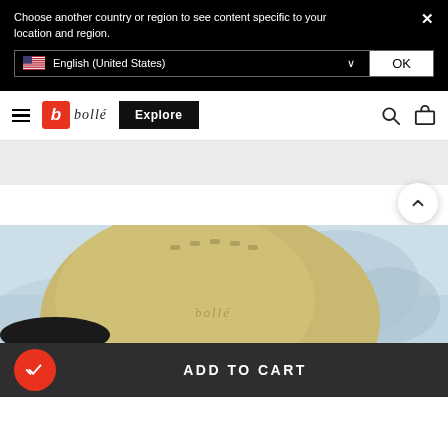Choose another country or region to see content specific to your location and region.
[Figure (screenshot): Dropdown selector showing flag of United States and text 'English (United States)' with a dropdown arrow, next to an OK button]
[Figure (logo): Bollé brand logo with red B icon and italic 'bollé' text]
[Figure (screenshot): Navigation bar with hamburger menu, Bollé logo, Explore button, search icon, and bag icon]
[Figure (photo): Bollé ski helmet in tan/khaki color against snowy mountain background, with 'bollé' text on helmet]
ADD TO CART